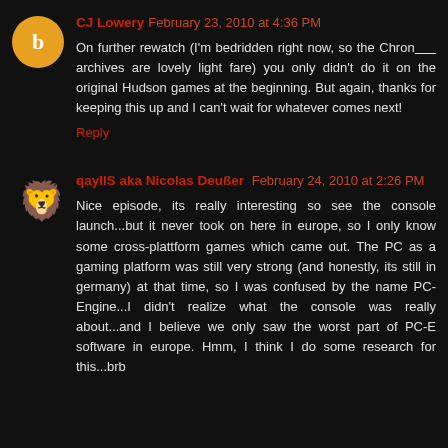CJ Lowery February 23, 2010 at 4:36 PM
On further rewatch (I'm bedridden right now, so the Chron_____ archives are lovely light fare) you only didn't do it on the original Hudson games at the beginning. But again, thanks for keeping this up and I can't wait for whatever comes next!
Reply
qayIIS aka Nicolas Deußer February 24, 2010 at 2:26 PM
Nice episode, its really interesting so see the console launch...but it never took on here in europe, so I only know some cross-plattform games which came out. The PC as a gaming platform was still very strong (and honestly, its still in germany) at that time, so I was confused by the name PC-Engine...I didn't realize what the console was really about...and I believe we only saw the worst part of PC-E software in europe. Hmm, I think I do some research for this...brb